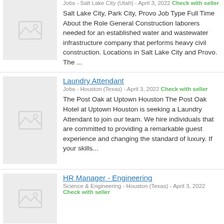[Figure (other): Placeholder image thumbnail with gray background and image icon]
Jobs - Salt Lake City (Utah) - April 3, 2022 Check with seller
Salt Lake City, Park City, Provo Job Type Full Time About the Role General Construction laborers needed for an established water and wastewater infrastructure company that performs heavy civil construction. Locations in Salt Lake City and Provo. The ...
[Figure (other): Placeholder image thumbnail with gray background and image icon]
Laundry Attendant
Jobs - Houston (Texas) - April 3, 2022 Check with seller
The Post Oak at Uptown Houston The Post Oak Hotel at Uptown Houston is seeking a Laundry Attendant to join our team. We hire individuals that are committed to providing a remarkable guest experience and changing the standard of luxury. If your skills...
[Figure (other): Placeholder image thumbnail with gray background and image icon]
HR Manager - Engineering
Science & Engineering - Houston (Texas) - April 3, 2022 Check with seller